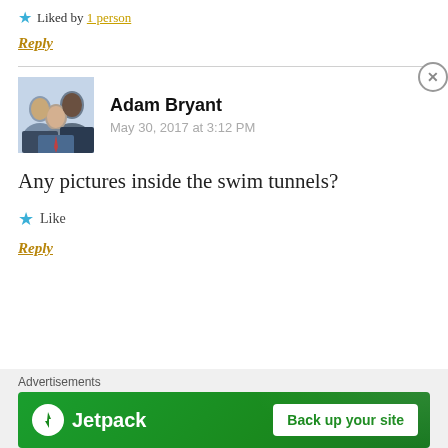★ Liked by 1 person
Reply
Adam Bryant
May 30, 2017 at 3:12 PM
Any pictures inside the swim tunnels?
★ Like
Reply
Advertisements
Jetpack  Back up your site